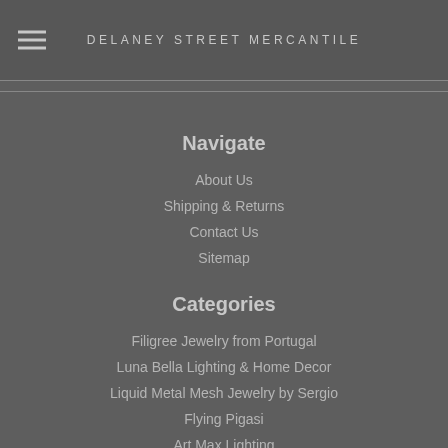DELANEY STREET MERCANTILE
Navigate
About Us
Shipping & Returns
Contact Us
Sitemap
Categories
Filigree Jewelry from Portugal
Luna Bella Lighting & Home Decor
Liquid Metal Mesh Jewelry by Sergio
Flying Pigasi
Art Max Lighting
Authentic Models
Glass Putters USGA Approved